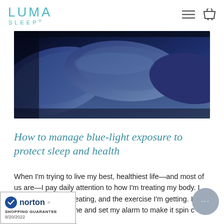LUMA SLEEP
[Figure (photo): Blue-toned photograph of a bed with pillows, shot in dim lighting with a blue/purple hue suggesting nighttime sleep environment]
How to manage blue-light exposure to protect sleep and health
When I'm trying to live my best, healthiest life—and most of us are—I pay daily attention to how I'm treating my body. I watch the food I'm eating, and the exercise I'm getting. I pass on that glass of wine and set my alarm to make it spin class three times a week.